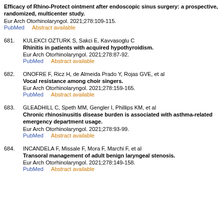Efficacy of Rhino-Protect ointment after endoscopic sinus surgery: a prospective, randomized, multicenter study. Eur Arch Otorhinolaryngol. 2021;278:109-115. PubMed   Abstract available
681. KULEKCI OZTURK S, Sakci E, Kavvasoglu C
Rhinitis in patients with acquired hypothyroidism.
Eur Arch Otorhinolaryngol. 2021;278:87-92.
PubMed   Abstract available
682. ONOFRE F, Ricz H, de Almeida Prado Y, Rojas GVE, et al
Vocal resistance among choir singers.
Eur Arch Otorhinolaryngol. 2021;278:159-165.
PubMed   Abstract available
683. GLEADHILL C, Speth MM, Gengler I, Phillips KM, et al
Chronic rhinosinusitis disease burden is associated with asthma-related emergency department usage.
Eur Arch Otorhinolaryngol. 2021;278:93-99.
PubMed   Abstract available
684. INCANDELA F, Missale F, Mora F, Marchi F, et al
Transoral management of adult benign laryngeal stenosis.
Eur Arch Otorhinolaryngol. 2021;278:149-158.
PubMed   Abstract available